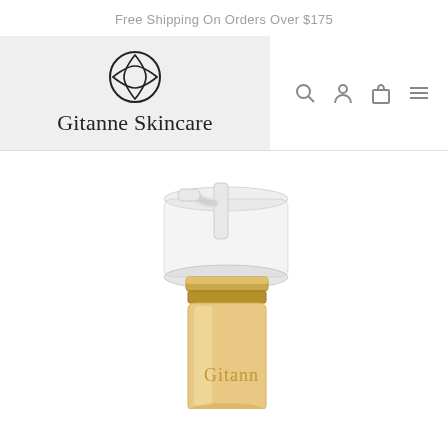Free Shipping On Orders Over $175
[Figure (logo): Gitanne Skincare logo with four-pointed star diamond shape icon above the brand name text]
[Figure (photo): Close-up of a gold and clear skincare pump bottle with transparent cap, gold collar, and gold/beige body labeled 'Gitanne', photographed on white background]